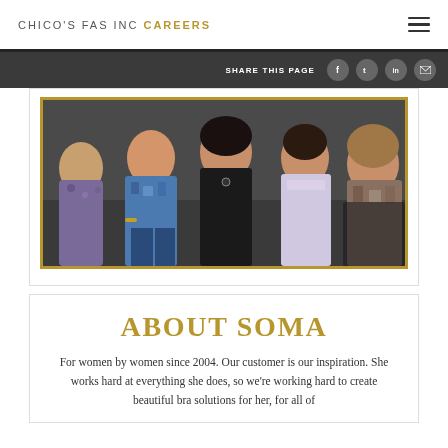CHICO'S FAS INC CAREERS
SHARE THIS PAGE
[Figure (photo): Group photo of five women seated together smiling at an event, one wearing a black top, others in colorful and patterned clothing]
ABOUT SOMA
For women by women since 2004. Our customer is our inspiration. She works hard at everything she does, so we're working hard to create beautiful bra solutions for her, for all of